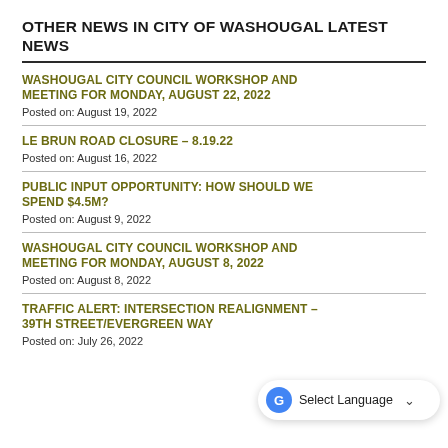OTHER NEWS IN CITY OF WASHOUGAL LATEST NEWS
WASHOUGAL CITY COUNCIL WORKSHOP AND MEETING FOR MONDAY, AUGUST 22, 2022
Posted on: August 19, 2022
LE BRUN ROAD CLOSURE – 8.19.22
Posted on: August 16, 2022
PUBLIC INPUT OPPORTUNITY: HOW SHOULD WE SPEND $4.5M?
Posted on: August 9, 2022
WASHOUGAL CITY COUNCIL WORKSHOP AND MEETING FOR MONDAY, AUGUST 8, 2022
Posted on: August 8, 2022
TRAFFIC ALERT: INTERSECTION REALIGNMENT – 39TH STREET/EVERGREEN WAY
Posted on: July 26, 2022